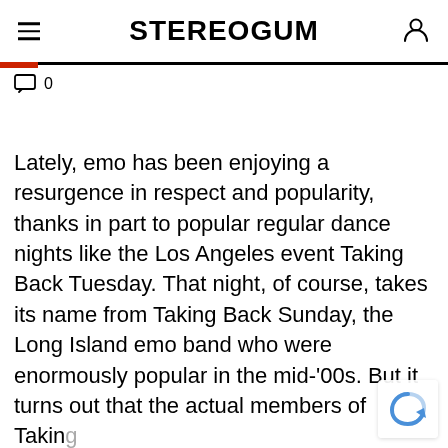STEREOGUM
0
Lately, emo has been enjoying a resurgence in respect and popularity, thanks in part to popular regular dance nights like the Los Angeles event Taking Back Tuesday. That night, of course, takes its name from Taking Back Sunday, the Long Island emo band who were enormously popular in the mid-'00s. But it turns out that the actual members of Taking Back Sunday are not at all happy about the event, perhaps because people who make e...